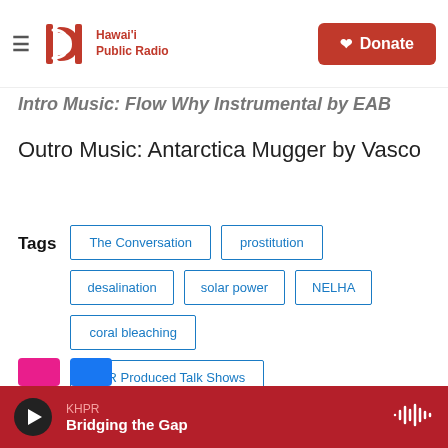Hawai'i Public Radio — Donate
Intro Music: Flow Why Instrumental by EAB
Outro Music: Antarctica Mugger by Vasco
Tags: The Conversation | prostitution | desalination | solar power | NELHA | coral bleaching | HPR Produced Talk Shows
KHPR — Bridging the Gap